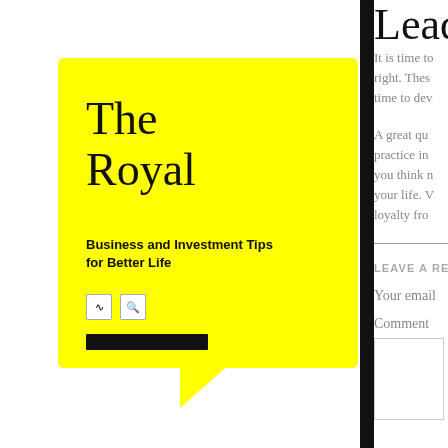[Figure (illustration): Yellow speech bubble with title 'The Royal', subtitle 'Business and Investment Tips for Better Life', two icon boxes (RSS and search), and a black bar]
The Royal
Business and Investment Tips for Better Life
Leade
It is time to right. Thes time to dev
A great qu practice in you think n your life. V loyalty fro
LEAVE A RE
Your email
Comment